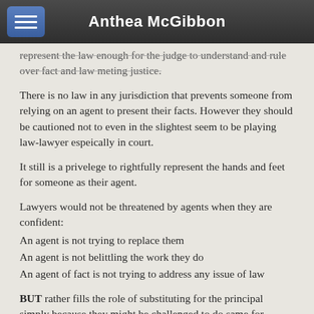Anthea McGibbon
represent the law enough for the judge to understand and rule over fact and law meting justice.
There is no law in any jurisdiction that prevents someone from relying on an agent to present their facts. However they should be cautioned not to even in the slightest seem to be playing law-lawyer espeically in court.
It still is a privelege to rightfully represent the hands and feet for someone as their agent.
Lawyers would not be threatened by agents when they are confident:
An agent is not trying to replace them
An agent is not belittling the work they do
An agent of fact is not trying to address any issue of law
BUT rather fills the role of substituting for the principal simply because they might be challenged to do same for themself one way or another.